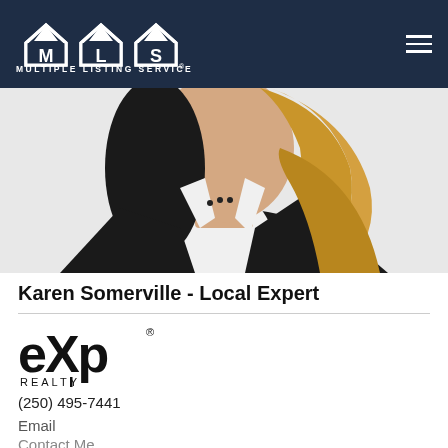MLS Multiple Listing Service
[Figure (photo): Professional headshot of Karen Somerville, a woman with long blonde wavy hair wearing a black blazer and white shirt with a necklace]
Karen Somerville - Local Expert
[Figure (logo): eXp Realty logo in black]
(250) 495-7441
Email
Contact Me